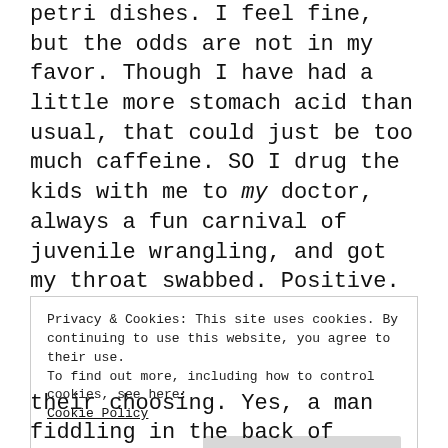petri dishes. I feel fine, but the odds are not in my favor. Though I have had a little more stomach acid than usual, that could just be too much caffeine. SO I drug the kids with me to my doctor, always a fun carnival of juvenile wrangling, and got my throat swabbed. Positive. Unlike the rest of my day.
My conclusion is that we wrung all the fun out of summer, and there's just nothing left. Our most recent journey took us to the Grange Fair in Centre Hall, PA. It's a family tradition to attend, and not just our line from family
Privacy & Cookies: This site uses cookies. By continuing to use this website, you agree to their use.
To find out more, including how to control cookies, see here:
Cookie Policy
their choosing. Yes, a man fiddling in the back of